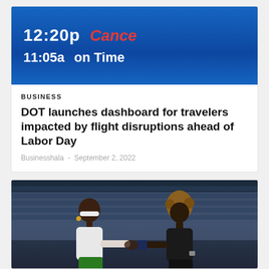[Figure (photo): Airport flight departure board showing cancelled and delayed flights with times 12:20p, 11:05a, Cancelled text in red, and 'Time' label visible]
BUSINESS
DOT launches dashboard for travelers impacted by flight disruptions ahead of Labor Day
Businesshala - September 2, 2022
[Figure (photo): Two female tennis players shaking hands at net after a match. Left player wearing white top and green shorts with white visor, right player wearing black outfit. Crowd visible in background.]